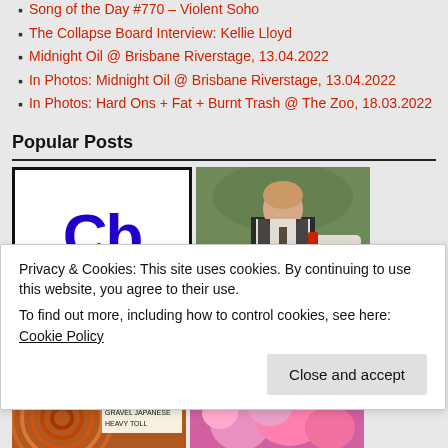Song of the Day #770 – Violent Soho
The Collapse Board Interview: Kellie Lloyd
Midnight Oil @ Brisbane Riverstage, 13.04.2022
In Photos: Midnight Oil @ Brisbane Riverstage, 13.04.2022
In Photos: Hard Ons + Fat + Burnt Trash @ The Zoo, 18.03.2022
Popular Posts
[Figure (logo): Collapse Board logo: large bold dark blue letters 'Cb' on white background with thick black border]
[Figure (photo): Photo of a young man in a vest and tie pointing to his right, outdoors with green foliage background]
Privacy & Cookies: This site uses cookies. By continuing to use this website, you agree to their use.
To find out more, including how to control cookies, see here: Cookie Policy
[Figure (photo): Photo showing circular orange/red pattern, possibly vinyl or art, with text overlay: KITCHEN FLOOR, GRAVEL JAPANESE, HEAVY TOLL]
[Figure (photo): Photo of people, colorful pink and other colors]